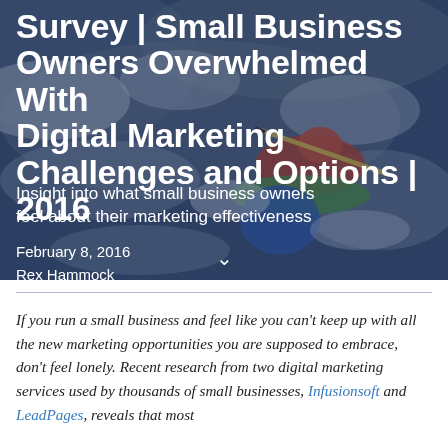[Figure (photo): Hero image with kayaker in whitewater rapids, overlaid with dark blue tint. Large bold white title text reads: Survey | Small Business Owners Overwhelmed With Digital Marketing Challenges and Options | 2016]
Survey | Small Business Owners Overwhelmed With Digital Marketing Challenges and Options | 2016
Insight into what small business owners feel about their marketing effectiveness
February 8, 2016
Rex Hammock
If you run a small business and feel like you can't keep up with all the new marketing opportunities you are supposed to embrace, don't feel lonely. Recent research from two digital marketing services used by thousands of small businesses, Infusionsoft and LeadPages, reveals that most